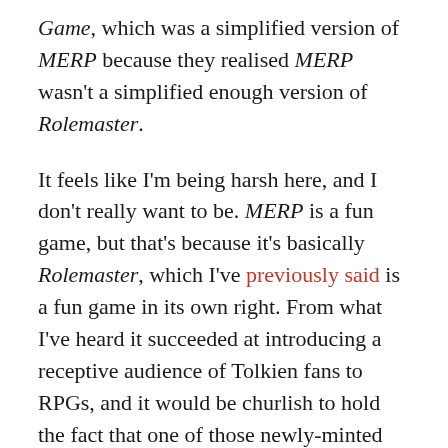Game, which was a simplified version of MERP because they realised MERP wasn't a simplified enough version of Rolemaster.
It feels like I'm being harsh here, and I don't really want to be. MERP is a fun game, but that's because it's basically Rolemaster, which I've previously said is a fun game in its own right. From what I've heard it succeeded at introducing a receptive audience of Tolkien fans to RPGs, and it would be churlish to hold the fact that one of those newly-minted gamers grew up to become Varg Vikernes against it. It just doesn't feel like a Middle Earth game, and that kills stone dead more or less the only reason to opt for MERP instead of just running core-rules-only Rolemaster.